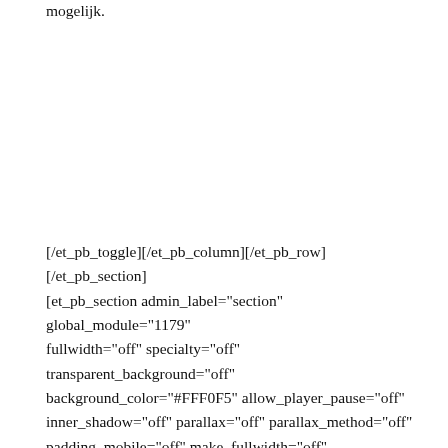mogelijk.
[/et_pb_toggle][/et_pb_column][/et_pb_row][/et_pb_section][et_pb_section admin_label="section" global_module="1179" fullwidth="off" specialty="off" transparent_background="off" background_color="#FFF0F5" allow_player_pause="off" inner_shadow="off" parallax="off" parallax_method="off" padding_mobile="off" make_fullwidth="off" use_custom_width="off" width_unit="on" make_equal="off" use_custom_gutter="off" custom_padding="25px|" module_class="cta"][et_pb_row global_parent="1179" admin_label="row" make_fullwidth="off"